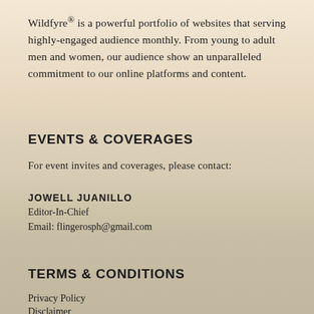Wildfyre® is a powerful portfolio of websites that serving highly-engaged audience monthly. From young to adult men and women, our audience show an unparalleled commitment to our online platforms and content.
EVENTS & COVERAGES
For event invites and coverages, please contact:
JOWELL JUANILLO
Editor-In-Chief
Email: flingerosph@gmail.com
TERMS & CONDITIONS
Privacy Policy
Disclaimer